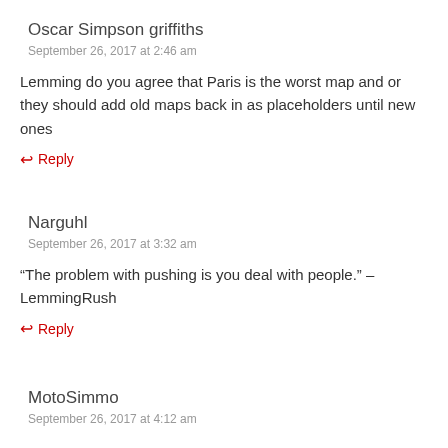Oscar Simpson griffiths
September 26, 2017 at 2:46 am
Lemming do you agree that Paris is the worst map and or they should add old maps back in as placeholders until new ones
↩ Reply
Narguhl
September 26, 2017 at 3:32 am
“The problem with pushing is you deal with people.” – LemmingRush
↩ Reply
MotoSimmo
September 26, 2017 at 4:12 am